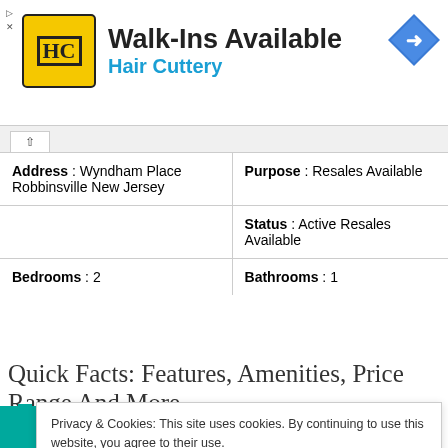[Figure (logo): Hair Cuttery advertisement banner with HC logo on yellow background, Walk-Ins Available title, and blue navigation arrow icon]
| Address : Wyndham Place Robbinsville New Jersey | Purpose : Resales Available |
|  | Status : Active Resales Available |
| Bedrooms : 2 | Bathrooms : 1 |
Quick Facts: Features, Amenities, Price Range And More
Privacy & Cookies: This site uses cookies. By continuing to use this website, you agree to their use.
To find out more, including how to control cookies, see here: Cookie Policy
Close and accept
Parking - Garages